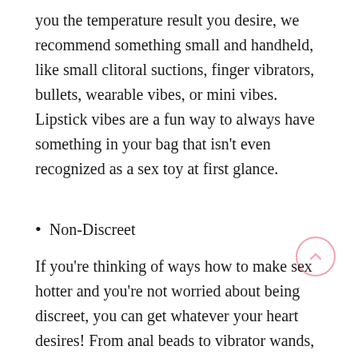you the temperature result you desire, we recommend something small and handheld, like small clitoral suctions, finger vibrators, bullets, wearable vibes, or mini vibes. Lipstick vibes are a fun way to always have something in your bag that isn't even recognized as a sex toy at first glance.
Non-Discreet
If you're thinking of ways how to make sex hotter and you're not worried about being discreet, you can get whatever your heart desires! From anal beads to vibrator wands, PinkCherry has something for everyone to turn up the heat. Get